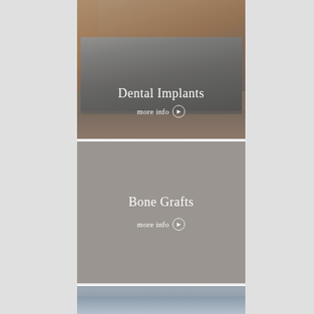[Figure (photo): Woman smiling holding a dental X-ray panoramic radiograph. Orange accent visible top-left. Photo overlaid with semi-transparent dark tint. Text overlay: 'Dental Implants' and 'more info >']
Dental Implants
more info ►
[Figure (photo): Solid grey panel representing Bone Grafts service section. Contains text 'Bone Grafts' and 'more info >']
Bone Grafts
more info ►
[Figure (photo): Partial bottom photo panel showing dental or medical instruments, blurred/cropped]